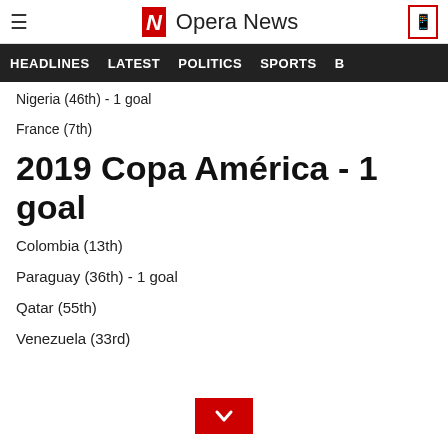Opera News
HEADLINES  LATEST  POLITICS  SPORTS
Nigeria (46th) - 1 goal
France (7th)
2019 Copa América - 1 goal
Colombia (13th)
Paraguay (36th) - 1 goal
Qatar (55th)
Venezuela (33rd)